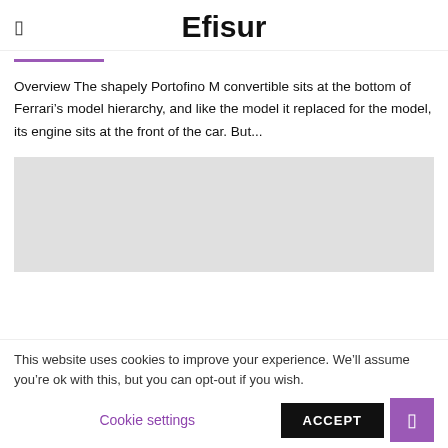Efisur
Overview The shapely Portofino M convertible sits at the bottom of Ferrari’s model hierarchy, and like the model it replaced for the model, its engine sits at the front of the car. But...
[Figure (photo): Gray placeholder image block]
This website uses cookies to improve your experience. We’ll assume you’re ok with this, but you can opt-out if you wish.
Cookie settings   ACCEPT